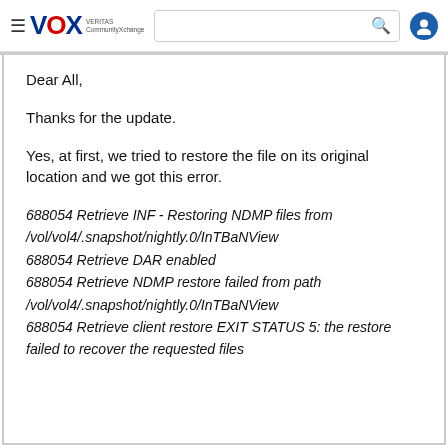VOX VERITAS CommunityXchange
Dear All,
Thanks for the update.
Yes, at first, we tried to restore the file on its original location and we got this error.
688054 Retrieve INF - Restoring NDMP files from /vol/vol4/.snapshot/nightly.0/InTBaNView
688054 Retrieve DAR enabled
688054 Retrieve NDMP restore failed from path /vol/vol4/.snapshot/nightly.0/InTBaNView
688054 Retrieve client restore EXIT STATUS 5: the restore failed to recover the requested files